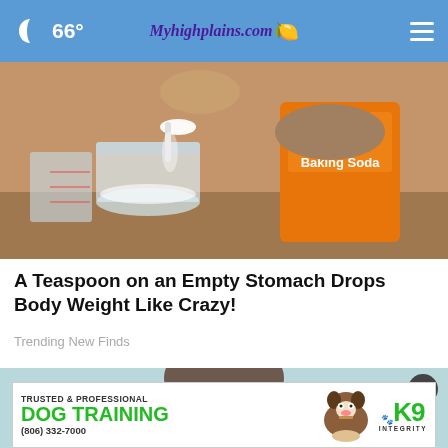🌙 66° Myhighplains.com
[Figure (photo): Hands spooning baking soda from a spoon into a glass jar, holding an Arm & Hammer Baking Soda orange box]
A Teaspoon on an Empty Stomach Drops Body Weight Like Crazy!
Trending New Finds
[Figure (photo): Advertisement: Trusted & Professional DOG TRAINING K9 Integrity (806) 332-7000, showing a dog and a person in background]